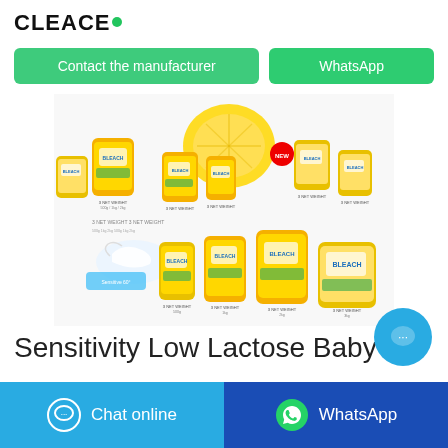CLEACE
Contact the manufacturer | WhatsApp
[Figure (photo): Product catalog image showing multiple bags of BLEACH/cleaning powder detergent in yellow-green packaging, arranged in two rows with lemon/citrus branding elements]
Sensitivity Low Lactose Baby
Chat online | WhatsApp